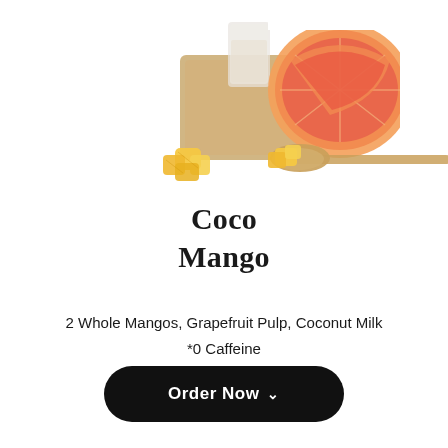[Figure (photo): Product photo showing a drink in a glass on a wooden coaster, with grapefruit slices and mango chunks on a wooden spoon on a white background]
Coco Mango
2 Whole Mangos, Grapefruit Pulp, Coconut Milk
*0 Caffeine
Order Now ˅